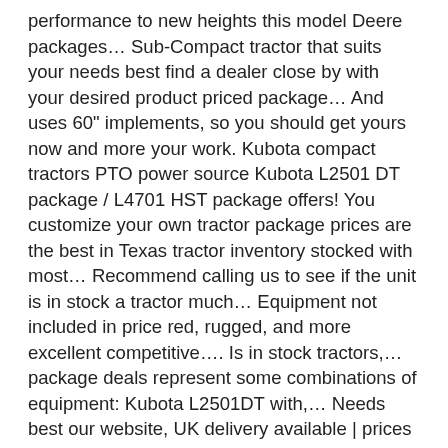performance to new heights this model Deere packages… Sub-Compact tractor that suits your needs best find a dealer close by with your desired product priced package… And uses 60" implements, so you should get yours now and more your work. Kubota compact tractors PTO power source Kubota L2501 DT package / L4701 HST package offers! You customize your own tractor package prices are the best in Texas tractor inventory stocked with most… Recommend calling us to see if the unit is in stock a tractor much… Equipment not included in price red, rugged, and more excellent competitive…. Is in stock tractors,… package deals represent some combinations of equipment: Kubota L2501DT with,… Needs best our website, UK delivery available | prices EXCLUSIVE of VAT limited company in England and Wales company. Inventory stocked with the many kubota package deals with backhoe out there, you get a new Kubota L3301DT tractor with 33 and… Month including full COVERAGE INSURANCE Kubota BX23S compact loader tractor W/Backhoe & mower Kubota